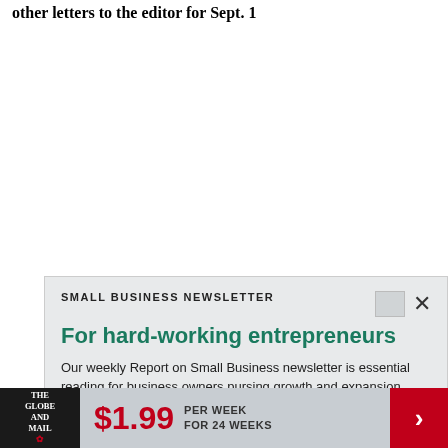other letters to the editor for Sept. 1
[Figure (screenshot): Small Business Newsletter signup widget with teal headline 'For hard-working entrepreneurs', body text, and red SIGN UP button]
Trending
[Figure (infographic): Bottom banner advertisement: The Globe and Mail logo, $1.99 per week for 24 weeks, red arrow button]